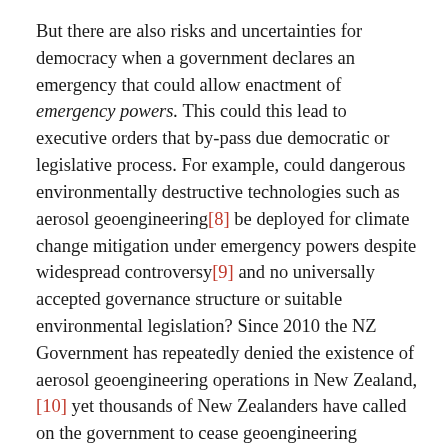But there are also risks and uncertainties for democracy when a government declares an emergency that could allow enactment of emergency powers. This could this lead to executive orders that by-pass due democratic or legislative process. For example, could dangerous environmentally destructive technologies such as aerosol geoengineering[8] be deployed for climate change mitigation under emergency powers despite widespread controversy[9] and no universally accepted governance structure or suitable environmental legislation? Since 2010 the NZ Government has repeatedly denied the existence of aerosol geoengineering operations in New Zealand,[10] yet thousands of New Zealanders have called on the government to cease geoengineering operations allegedly underway (change.org).[11] In an interview with Marc Morano, former US Republican insider, Morano discusses an alleged UN agenda for removal of civil rights and global depopulation under the auspices of a global climate